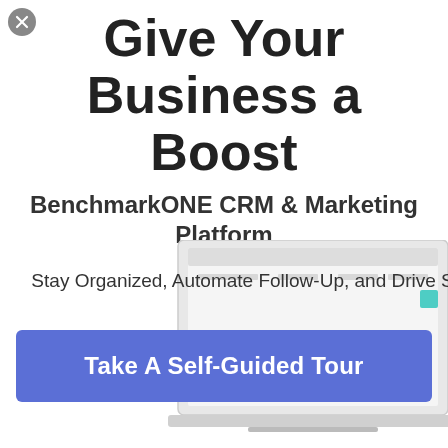[Figure (other): Close button (X) circle in top-left corner]
Give Your Business a Boost
BenchmarkONE CRM & Marketing Platform
Stay Organized, Automate Follow-Up, and Drive Sales
[Figure (screenshot): Laptop screen showing BenchmarkONE CRM dashboard with line charts and analytics]
Take A Self-Guided Tour